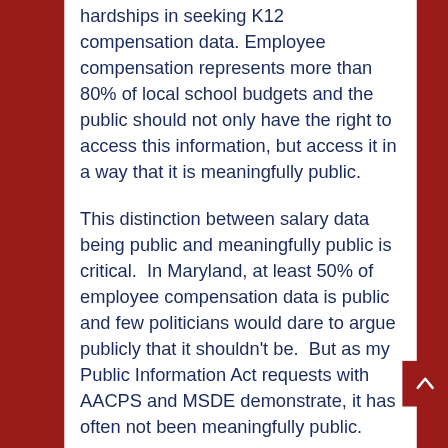hardships in seeking K12 compensation data. Employee compensation represents more than 80% of local school budgets and the public should not only have the right to access this information, but access it in a way that it is meaningfully public.
This distinction between salary data being public and meaningfully public is critical. In Maryland, at least 50% of employee compensation data is public and few politicians would dare to argue publicly that it shouldn't be. But as my Public Information Act requests with AACPS and MSDE demonstrate, it has often not been meaningfully public.
My specific recommendations to you are:
1. MSDE should publish all raw salary data online